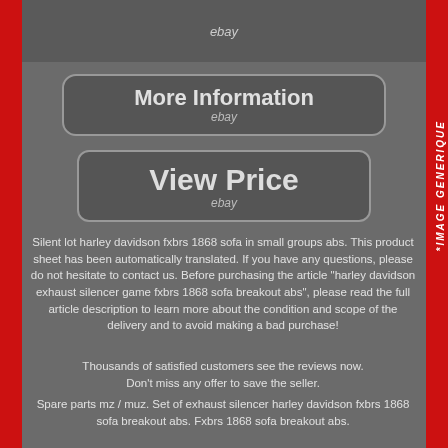[Figure (screenshot): Partial product image at top with eBay watermark]
[Figure (screenshot): More Information button with eBay label]
[Figure (screenshot): View Price button with eBay label]
Silent lot harley davidson fxbrs 1868 sofa in small groups abs. This product sheet has been automatically translated. If you have any questions, please do not hesitate to contact us. Before purchasing the article "harley davidson exhaust silencer game fxbrs 1868 sofa breakout abs", please read the full article description to learn more about the condition and scope of the delivery and to avoid making a bad purchase!
Thousands of satisfied customers see the reviews now. Don't miss any offer to save the seller.
Spare parts mz / muz. Set of exhaust silencer harley davidson fxbrs 1868 sofa breakout abs. Fxbrs 1868 sofa breakout abs.